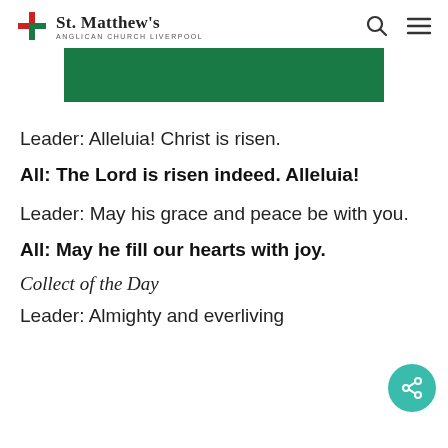St. Matthew's Anglican Church Liverpool
[Figure (other): Green banner image at top of page]
Leader: Alleluia! Christ is risen.
All: The Lord is risen indeed. Alleluia!
Leader: May his grace and peace be with you.
All: May he fill our hearts with joy.
Collect of the Day
Leader: Almighty and everliving